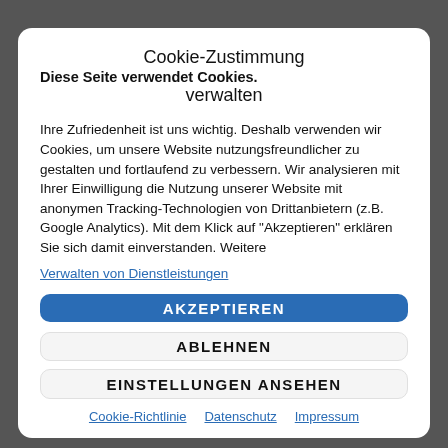Cookie-Zustimmung verwalten
Diese Seite verwendet Cookies.
Ihre Zufriedenheit ist uns wichtig. Deshalb verwenden wir Cookies, um unsere Website nutzungsfreundlicher zu gestalten und fortlaufend zu verbessern. Wir analysieren mit Ihrer Einwilligung die Nutzung unserer Website mit anonymen Tracking-Technologien von Drittanbietern (z.B. Google Analytics). Mit dem Klick auf "Akzeptieren" erklären Sie sich damit einverstanden. Weitere
Verwalten von Dienstleistungen
AKZEPTIEREN
ABLEHNEN
EINSTELLUNGEN ANSEHEN
Cookie-Richtlinie  Datenschutz  Impressum